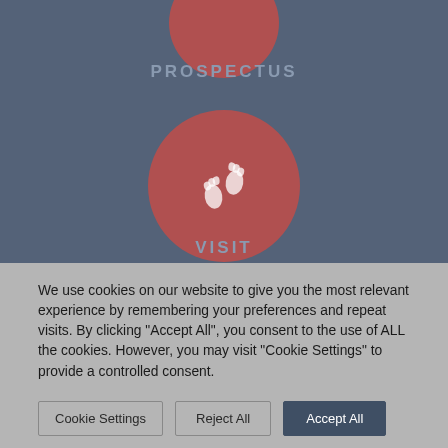[Figure (illustration): Dark blue-grey background section showing a partially cropped red circle at top (cut off), a 'PROSPECTUS' label, a full red circle with white footprints icon, and a 'VISIT' label]
We use cookies on our website to give you the most relevant experience by remembering your preferences and repeat visits. By clicking "Accept All", you consent to the use of ALL the cookies. However, you may visit "Cookie Settings" to provide a controlled consent.
Cookie Settings | Reject All | Accept All